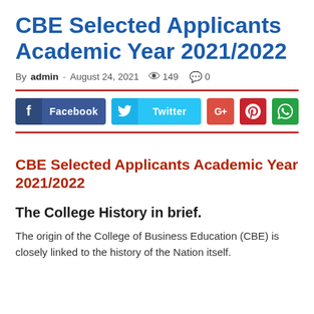CBE Selected Applicants Academic Year 2021/2022
By admin - August 24, 2021  149  0
[Figure (infographic): Social media share buttons: Facebook, Twitter, Google+, Pinterest, WhatsApp]
CBE Selected Applicants Academic Year 2021/2022
The College History in brief.
The origin of the College of Business Education (CBE) is closely linked to the history of the Nation itself.
(partially visible, cut off at bottom)